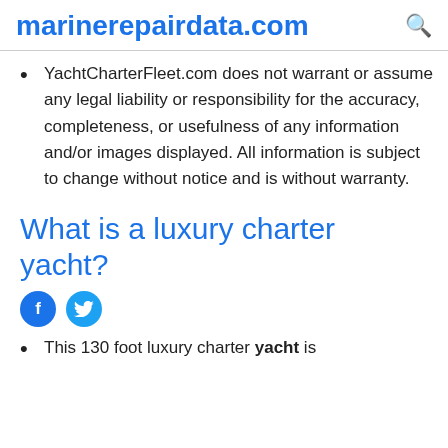marinerepairdata.com
YachtCharterFleet.com does not warrant or assume any legal liability or responsibility for the accuracy, completeness, or usefulness of any information and/or images displayed. All information is subject to change without notice and is without warranty.
What is a luxury charter yacht?
[Figure (other): Social media icons: Facebook and Twitter circular buttons]
This 130 foot luxury charter yacht is